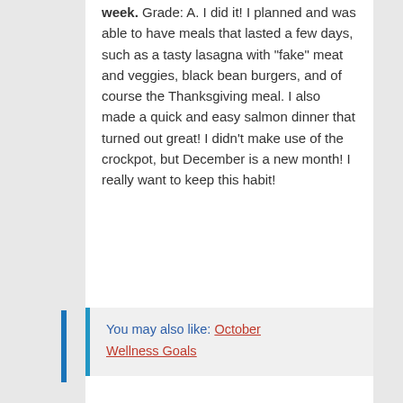week. Grade: A. I did it! I planned and was able to have meals that lasted a few days, such as a tasty lasagna with "fake" meat and veggies, black bean burgers, and of course the Thanksgiving meal. I also made a quick and easy salmon dinner that turned out great! I didn't make use of the crockpot, but December is a new month! I really want to keep this habit!
You may also like: October Wellness Goals